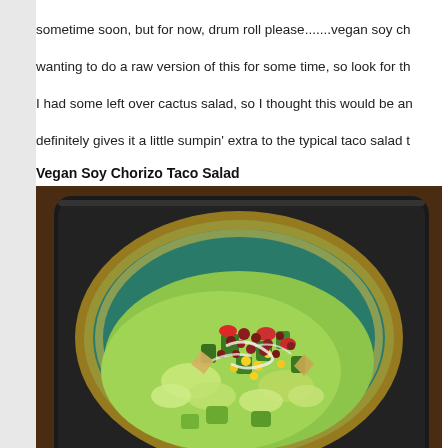sometime soon, but for now, drum roll please.......vegan soy ch wanting to do a raw version of this for some time, so look for th
I had some left over cactus salad, so I thought this would be an definitely gives it a little sumpin' extra to the typical taco salad t
Vegan Soy Chorizo Taco Salad
[Figure (photo): A square dark plate with a teal/turquoise center holding a colorful taco salad with lettuce, corn, peppers, cactus pieces, and soy chorizo crumbles with dressing, placed on a wooden table.]